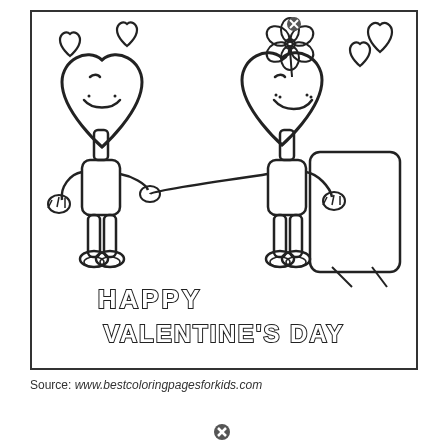[Figure (illustration): Valentine's Day coloring page showing two cartoon heart-shaped characters with smiley faces, arms and legs, holding hands. The character on the left has a big heart-shaped head with a smile, and the one on the right has a flower on top of its head. Both characters have shoes. Floating hearts around them. Text at the bottom reads 'HAPPY VALENTINE'S DAY' in bubble letters. Black and white line drawing intended for coloring.]
Source: www.bestcoloringpagesforkids.com